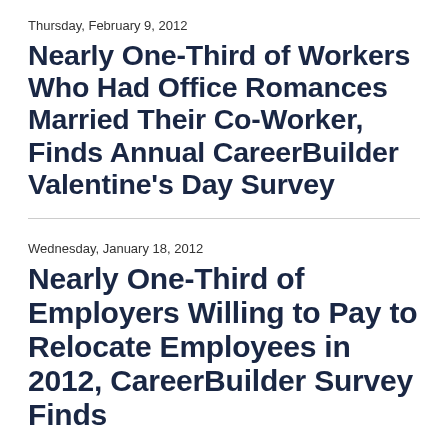Thursday, February 9, 2012
Nearly One-Third of Workers Who Had Office Romances Married Their Co-Worker, Finds Annual CareerBuilder Valentine's Day Survey
Wednesday, January 18, 2012
Nearly One-Third of Employers Willing to Pay to Relocate Employees in 2012, CareerBuilder Survey Finds